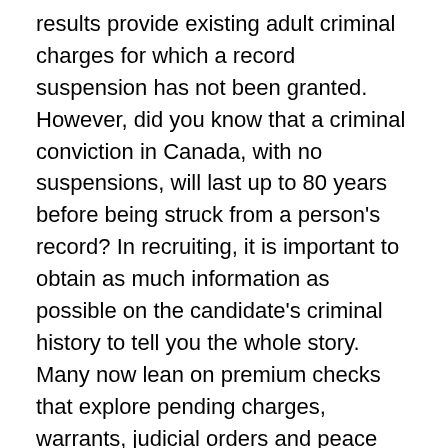results provide existing adult criminal charges for which a record suspension has not been granted. However, did you know that a criminal conviction in Canada, with no suspensions, will last up to 80 years before being struck from a person's record? In recruiting, it is important to obtain as much information as possible on the candidate's criminal history to tell you the whole story. Many now lean on premium checks that explore pending charges, warrants, judicial orders and peace bonds.
How long do background checks take?
New hire and pre-employment screening shouldn't take weeks to complete, especially when you're partnering with a third-party vendor to get the job done.
In the case of working with CIS, most all of our screening services are back to you within 24-72